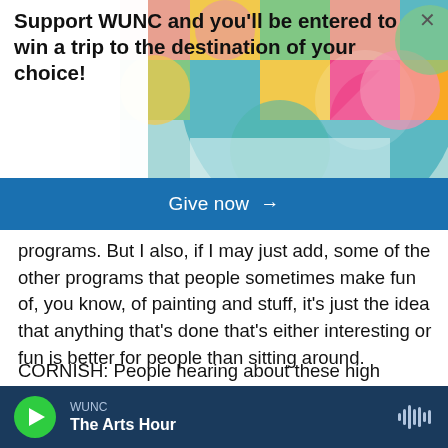[Figure (screenshot): Colorful abstract geometric graphic with circles and shapes in teal, coral, green, yellow, pink on the right side of the banner.]
Support WUNC and you'll be entered to win a trip to the destination of your choice!
Give now →
programs. But I also, if I may just add, some of the other programs that people sometimes make fun of, you know, of painting and stuff, it's just the idea that anything that's done that's either interesting or fun is better for people than sitting around.
CORNISH: People hearing about these high numbers of assaults at this hospital or any other - is there a question that we should be asking that
WUNC The Arts Hour